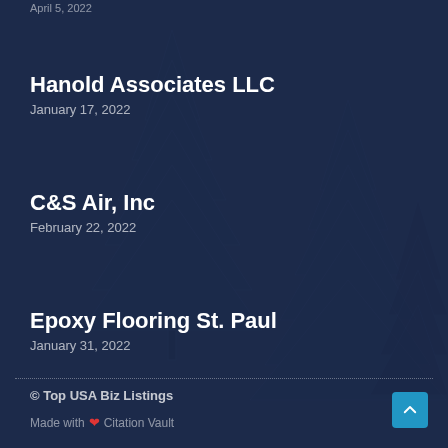April 5, 2022
Hanold Associates LLC
January 17, 2022
C&S Air, Inc
February 22, 2022
Epoxy Flooring St. Paul
January 31, 2022
© Top USA Biz Listings
Made with ❤ Citation Vault